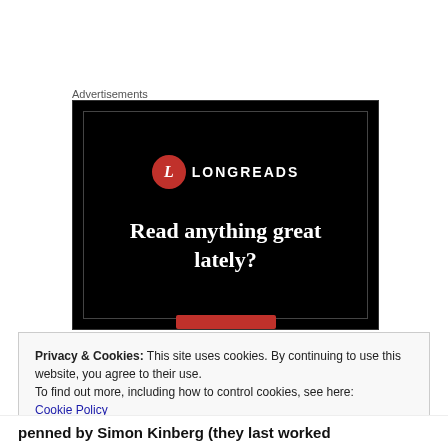Advertisements
[Figure (advertisement): Longreads advertisement banner with black background, Longreads logo (red circle with 'L' and text LONGREADS), and tagline 'Read anything great lately?' with a red button at the bottom.]
Privacy & Cookies: This site uses cookies. By continuing to use this website, you agree to their use.
To find out more, including how to control cookies, see here: Cookie Policy
Close and accept
penned by Simon Kinberg (they last worked